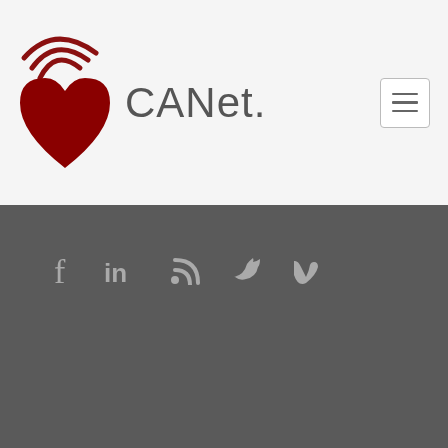[Figure (logo): CANet logo with heart icon and WiFi-style signal lines, text 'CANet.' beside it]
[Figure (infographic): Social media icons row: Facebook (f), LinkedIn (in), RSS feed, Twitter bird, Vimeo (v)]
© CANet. ALL RIGHTS RESERVED.
TERMS OF USE | PRIVACY POLICY